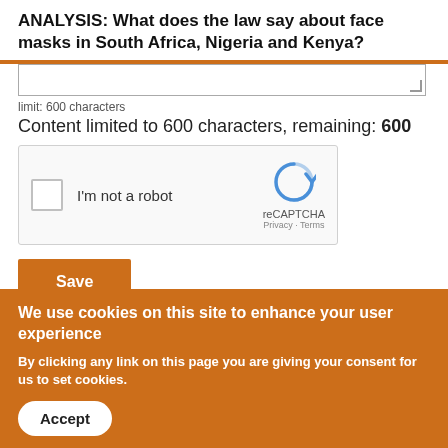ANALYSIS: What does the law say about face masks in South Africa, Nigeria and Kenya?
limit: 600 characters
Content limited to 600 characters, remaining: 600
[Figure (other): reCAPTCHA widget with checkbox labeled 'I'm not a robot']
Save
We use cookies on this site to enhance your user experience
By clicking any link on this page you are giving your consent for us to set cookies.
Accept